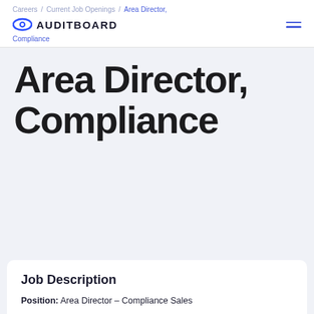Careers / Current Job Openings / Area Director, Compliance
Area Director, Compliance
Job Description
Position: Area Director – Compliance Sales